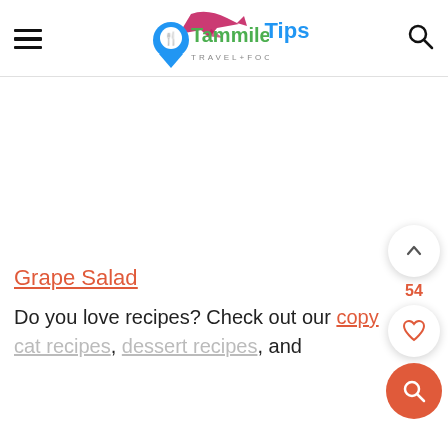Tammilee Tips — TRAVEL+FOOD+LIFE
Grape Salad
Do you love recipes? Check out our copy cat recipes, dessert recipes, and